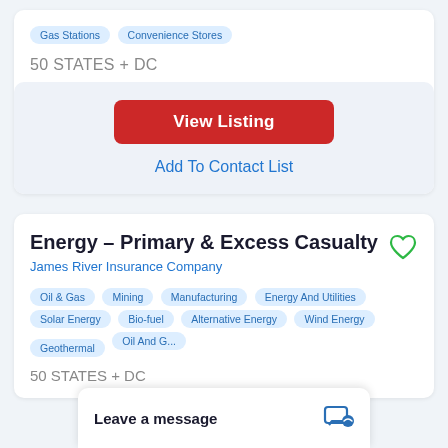Gas Stations
Convenience Stores
50 STATES + DC
View Listing
Add To Contact List
Energy - Primary & Excess Casualty
James River Insurance Company
Oil & Gas
Mining
Manufacturing
Energy And Utilities
Solar Energy
Bio-fuel
Alternative Energy
Wind Energy
Geothermal
Oil And G...
50 STATES + DC
Leave a message